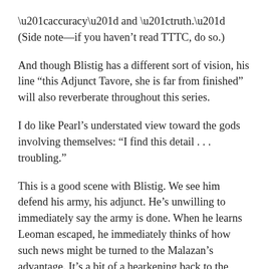“accuracy” and “truth.” (Side note—if you haven’t read TTTC, do so.)
And though Blistig has a different sort of vision, his line “this Adjunct Tavore, she is far from finished” will also reverberate throughout this series.
I do like Pearl’s understated view toward the gods involving themselves: “I find this detail . . . troubling.”
This is a good scene with Blistig. We see him defend his army, his adjunct. He’s unwilling to immediately say the army is done. When he learns Leoman escaped, he immediately thinks of how such news might be turned to the Malazan’s advantage. It’s a bit of a hearkening back to the earlier Blistig as compared to what we’ve seen lately and where he’s going.